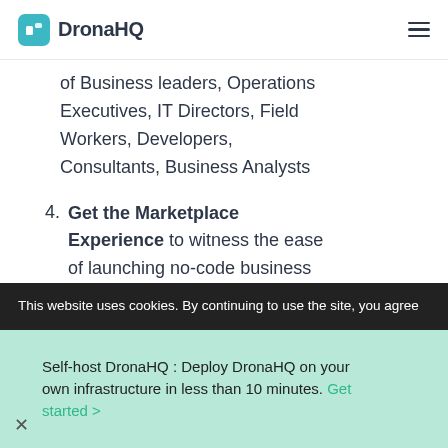DronaHQ
of Business leaders, Operations Executives, IT Directors, Field Workers, Developers, Consultants, Business Analysts
4. Get the Marketplace Experience to witness the ease of launching no-code business apps with Ready Template Apps from our Marketplace. Apps for
This website uses cookies. By continuing to use the site, you agree
Self-host DronaHQ : Deploy DronaHQ on your own infrastructure in less than 10 minutes. Get started >